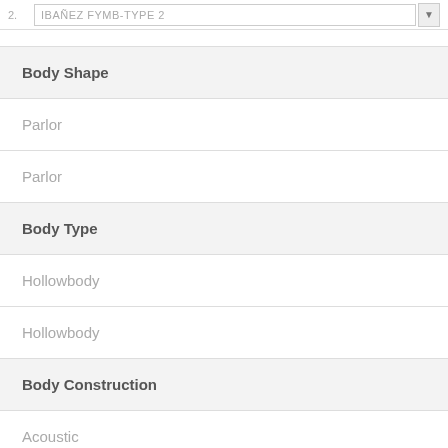| Body Shape |
| Parlor |
| Parlor |
| Body Type |
| Hollowbody |
| Hollowbody |
| Body Construction |
| Acoustic |